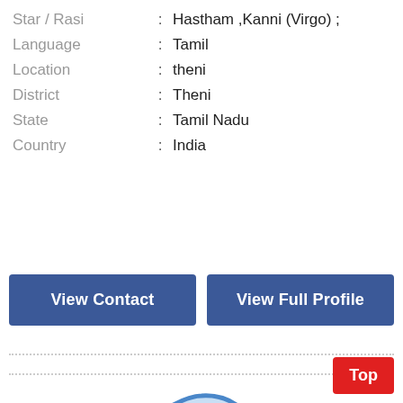Star / Rasi : Hastham ,Kanni (Virgo) ;
Language : Tamil
Location : theni
District : Theni
State : Tamil Nadu
Country : India
View Contact
View Full Profile
[Figure (illustration): Female avatar/profile placeholder icon in blue outline style with a plus button overlay]
Top